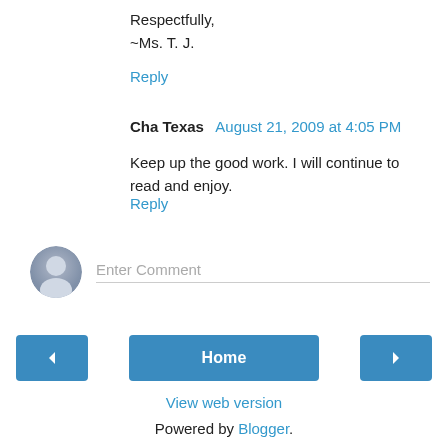Respectfully,
~Ms. T. J.
Reply
Cha Texas  August 21, 2009 at 4:05 PM
Keep up the good work. I will continue to read and enjoy.
Reply
[Figure (other): User avatar placeholder icon (gray silhouette) with Enter Comment text input field below a horizontal line]
< (previous button)  Home  > (next button)
View web version
Powered by Blogger.